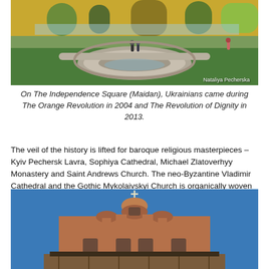[Figure (photo): Outdoor fountain area at Independence Square (Maidan) in Kyiv, with circular water features, trees, and people in the background. Photo credit: Nataliya Pecherska]
On The Independence Square (Maidan), Ukrainians came during The Orange Revolution in 2004 and The Revolution of Dignity in 2013.
The veil of the history is lifted for baroque religious masterpieces – Kyiv Pechersk Lavra, Sophiya Cathedral, Michael Zlatoverhyy Monastery and Saint Andrews Church. The neo-Byzantine Vladimir Cathedral and the Gothic Mykolaivskyi Church is organically woven into the fabric of the unique town.
[Figure (photo): Facade of a historic church building with ornate brick architecture, Byzantine arches, a cross on top, and scaffolding visible at the bottom, against a blue sky.]